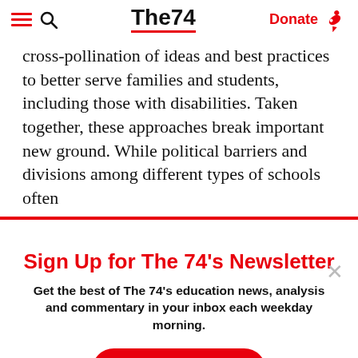The74 — Donate
cross-pollination of ideas and best practices to better serve families and students, including those with disabilities. Taken together, these approaches break important new ground. While political barriers and divisions among different types of schools often
Sign Up for The 74's Newsletter
Get the best of The 74's education news, analysis and commentary in your inbox each weekday morning.
Subscribe